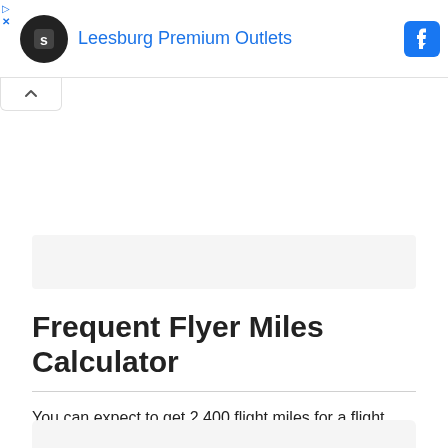[Figure (screenshot): Advertisement banner for Leesburg Premium Outlets with circular logo icon, blue text title, and Facebook-style blue arrow icon on the right, with play and close controls on top-left.]
Frequent Flyer Miles Calculator
You can expect to get 2,400 flight miles for a flight from Philadelphia to Los Angeles. However final amount of miles will depend on frequent flyer program rules, booking class and your level in program.